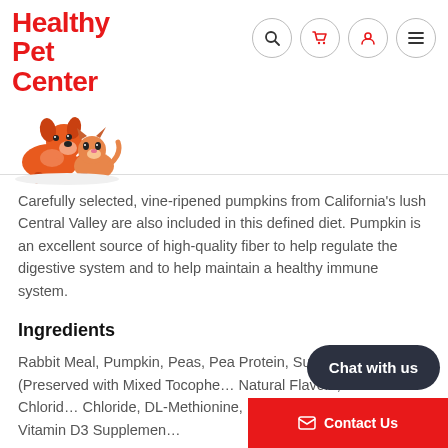[Figure (logo): Healthy Pet Center logo with red text and cartoon dog and cat illustration]
Carefully selected, vine-ripened pumpkins from California's lush Central Valley are also included in this defined diet. Pumpkin is an excellent source of high-quality fiber to help regulate the digestive system and to help maintain a healthy immune system.
Ingredients
Rabbit Meal, Pumpkin, Peas, Pea Protein, Sunflower Oil (Preserved with Mixed Tocophe... Natural Flavors, Potassium Chlorid... Chloride, DL-Methionine, L-Lysine, T... Supplement, Vitamin D3 Supplemen...